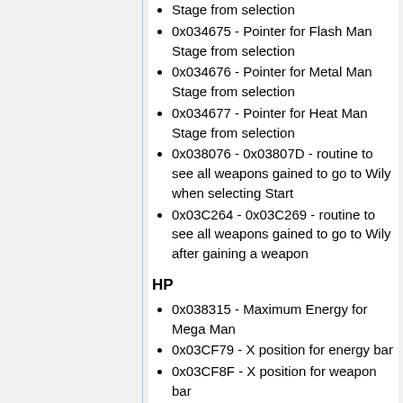Stage from selection
0x034675 - Pointer for Flash Man Stage from selection
0x034676 - Pointer for Metal Man Stage from selection
0x034677 - Pointer for Heat Man Stage from selection
0x038076 - 0x03807D - routine to see all weapons gained to go to Wily when selecting Start
0x03C264 - 0x03C269 - routine to see all weapons gained to go to Wily after gaining a weapon
HP
0x038315 - Maximum Energy for Mega Man
0x03CF79 - X position for energy bar
0x03CF8F - X position for weapon bar